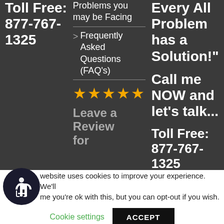Toll Free: 877-767-1325
Problems you may be Facing
> Frequently Asked Questions (FAQ's)
[Figure (other): Five gold star rating icons]
Leave a Review for
Every All Problem has a Solution! Call me NOW and let's talk... Toll Free: 877-767-1325
website uses cookies to improve your experience. We'll me you're ok with this, but you can opt-out if you wish.
Cookie settings
ACCEPT